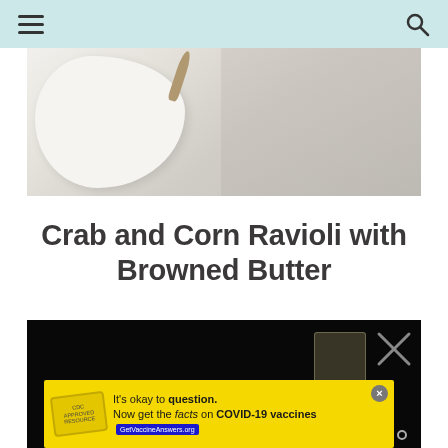Navigation header with hamburger menu and search icon
[Figure (photo): Close-up photo of white cloth or dough on a floured surface with a wooden spoon, food preparation scene]
Crab and Corn Ravioli with Browned Butter
[Figure (photo): Dark background video thumbnail with a glass of liquid visible on the right side, cooking video player]
[Figure (other): Yellow advertisement banner: It's okay to question. Now get the facts on COVID-19 vaccines. GetVaccineAnswers.org with close button and stamp logo]